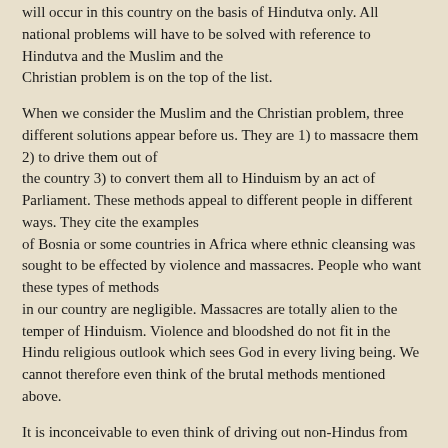will occur in this country on the basis of Hindutva only. All national problems will have to be solved with reference to Hindutva and the Muslim and the Christian problem is on the top of the list.
When we consider the Muslim and the Christian problem, three different solutions appear before us. They are 1) to massacre them 2) to drive them out of the country 3) to convert them all to Hinduism by an act of Parliament. These methods appeal to different people in different ways. They cite the examples of Bosnia or some countries in Africa where ethnic cleansing was sought to be effected by violence and massacres. People who want these types of methods in our country are negligible. Massacres are totally alien to the temper of Hinduism. Violence and bloodshed do not fit in the Hindu religious outlook which sees God in every living being. We cannot therefore even think of the brutal methods mentioned above.
It is inconceivable to even think of driving out non-Hindus from this country. They belong to the same Aryan race and their forefathers lived in this country. Their racial and cultural roots are deep in the soil of this country. There are very few non-Hindus who have come from other countries. It would be perfectly justified if they are sent back to their countries. The question of driving out Indian Christians or Indian Muslims simply does not arise. They are part